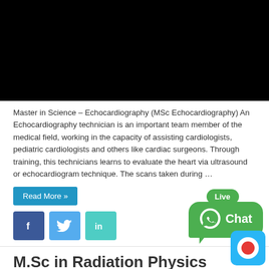[Figure (photo): Black rectangle representing a video thumbnail or placeholder image]
Master in Science – Echocardiography (MSc Echocardiography) An Echocardiography technician is an important team member of the medical field, working in the capacity of assisting cardiologists, pediatric cardiologists and others like cardiac surgeons. Through training, this technicians learns to evaluate the heart via ultrasound or echocardiogram technique. The scans taken during …
Read More »
[Figure (other): Social media share buttons: Facebook (f), Twitter (bird icon), LinkedIn (in)]
[Figure (other): Live Chat WhatsApp widget with green speech bubble]
M.Sc in Radiation Physics